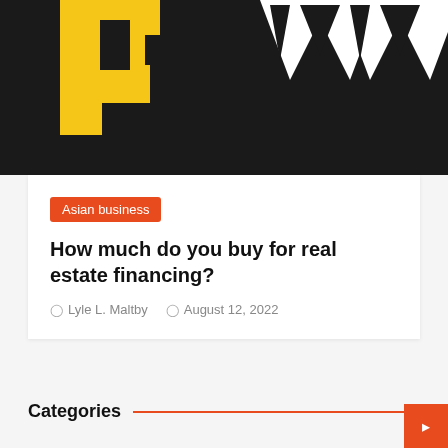[Figure (logo): Partial view of a yellow and white logo on a dark/black background — large bold letters partially visible]
Asian business
How much do you buy for real estate financing?
Lyle L. Maltby   August 12, 2022
Categories